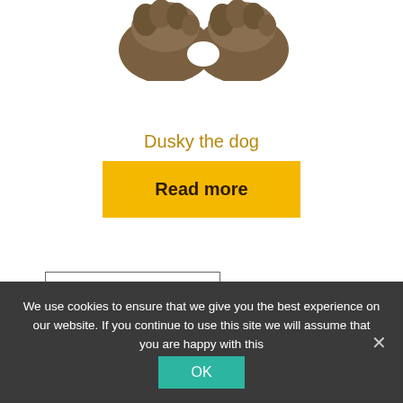[Figure (photo): Photo of furry animal paws/boots (Dusky the dog) cropped at the top of the page]
Dusky the dog
Read more
Sort by latest
We use cookies to ensure that we give you the best experience on our website. If you continue to use this site we will assume that you are happy with this
OK